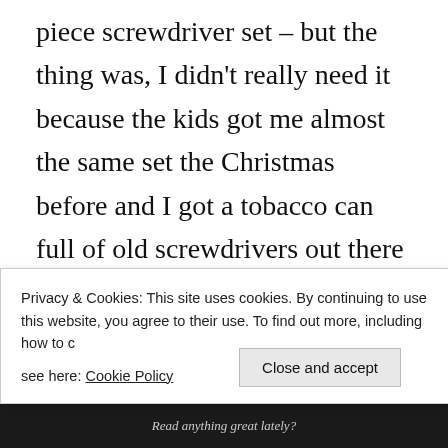piece screwdriver set – but the thing was, I didn't really need it because the kids got me almost the same set the Christmas before and I got a tobacco can full of old screwdrivers out there on the shelf. So what I figured was, if I could take the screwdriver set back to the store, I could use the money to buy beer.
So he said he was with that, and so... I explained...
Privacy & Cookies: This site uses cookies. By continuing to use this website, you agree to their use. To find out more, including how to control cookies, see here: Cookie Policy
Read anything great lately?